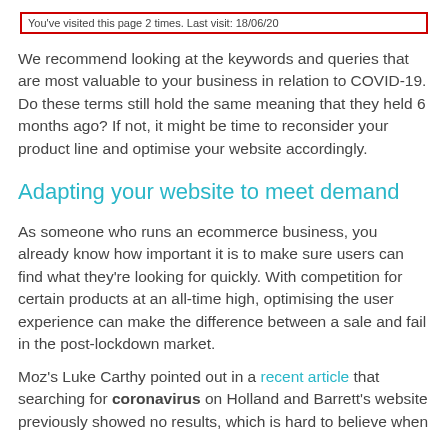You've visited this page 2 times. Last visit: 18/06/20
We recommend looking at the keywords and queries that are most valuable to your business in relation to COVID-19. Do these terms still hold the same meaning that they held 6 months ago? If not, it might be time to reconsider your product line and optimise your website accordingly.
Adapting your website to meet demand
As someone who runs an ecommerce business, you already know how important it is to make sure users can find what they're looking for quickly. With competition for certain products at an all-time high, optimising the user experience can make the difference between a sale and fail in the post-lockdown market.
Moz's Luke Carthy pointed out in a recent article that searching for coronavirus on Holland and Barrett's website previously showed no results, which is hard to believe when